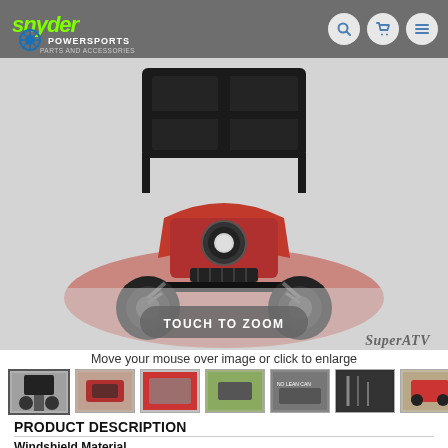Snyder Powersports - Parts and Accessories
[Figure (photo): Front view of a red UTV/side-by-side vehicle with a black windshield accessory installed, shown against a light grey background. A 'TOUCH TO ZOOM' button overlays the image. SuperATV logo appears bottom-right.]
Move your mouse over image or click to enlarge
[Figure (photo): Strip of 7 product thumbnail images showing the UTV windshield from various angles and on different vehicles.]
PRODUCT DESCRIPTION
Windshield Material
Scratch Resistant Polycarbonate - Clear